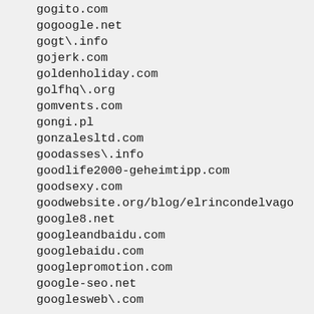gogito.com
gogoogle.net
gogt\.info
gojerk.com
goldenholiday.com
golfhq\.org
gomvents.com
gongi.pl
gonzalesltd.com
goodasses\.info
goodlife2000-geheimtipp.com
goodsexy.com
goodwebsite.org/blog/elrincondelvago
google8.net
googleandbaidu.com
googlebaidu.com
googlepromotion.com
google-seo.net
googlesweb\.com